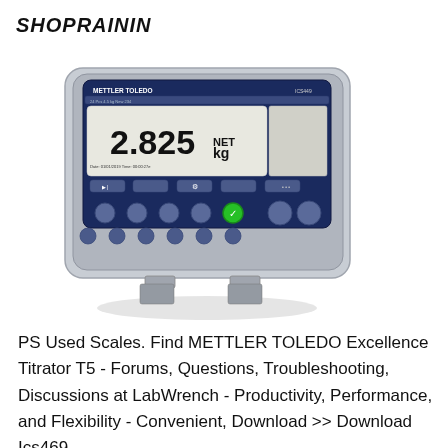SHOPRAININ
[Figure (photo): A METTLER TOLEDO ICS449 digital weighing indicator/terminal in a stainless steel housing. The device has a dark blue front panel with a digital display showing '2.825 kg', various buttons including a green button, and the METTLER TOLEDO branding on the display screen. The device is shown at a slight angle.]
PS Used Scales. Find METTLER TOLEDO Excellence Titrator T5 - Forums, Questions, Troubleshooting, Discussions at LabWrench - Productivity, Performance, and Flexibility - Convenient, Download >> Download Ics469